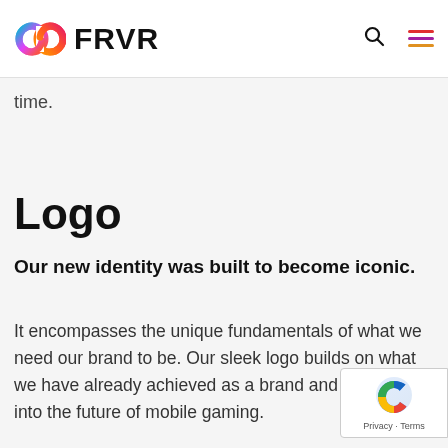FRVR
time.
Logo
Our new identity was built to become iconic.
It encompasses the unique fundamentals of what we need our brand to be. Our sleek logo builds on what we have already achieved as a brand and propels us into the future of mobile gaming.
[Figure (logo): reCAPTCHA badge with Privacy and Terms links]